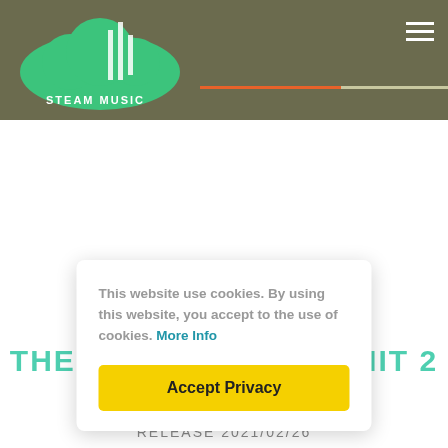STEAM MUSIC
This website use cookies. By using this website, you accept to the use of cookies. More Info
Accept Privacy
THE BUST CUBA – SIMIT 2 TIMES
RELEASE 2021/02/26